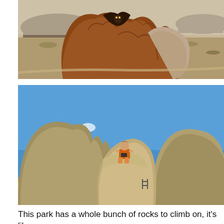[Figure (photo): Close-up photo of large reddish-brown volcanic rock formations with desert landscape and mesa in background under hazy sky.]
[Figure (photo): Photo of large tan/beige boulders with a child sitting atop one of the rocks under a bright blue sky, desert grassland in background.]
This park has a whole bunch of rocks to climb on, it's like a